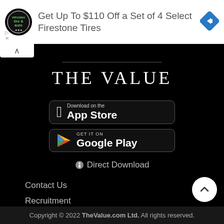[Figure (infographic): Advertisement banner for Firestone Tires: tire & auto logo on left, blue diamond navigation icon on right]
Get Up To $110 Off a Set of 4 Select Firestone Tires
THE VALUE
[Figure (screenshot): Download on the App Store button]
[Figure (screenshot): GET IT ON Google Play button]
Direct Download
Contact Us
Recruitment
Privacy Policy
Copyright © 2022 TheValue.com Ltd. All rights reserved.